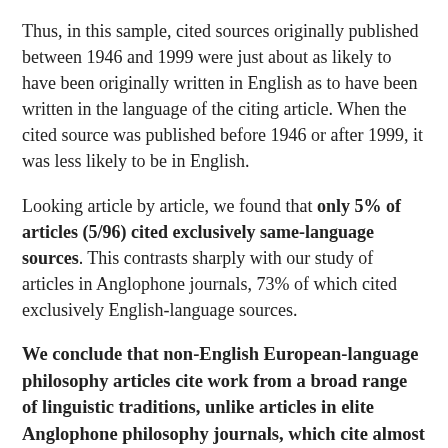Thus, in this sample, cited sources originally published between 1946 and 1999 were just about as likely to have been originally written in English as to have been written in the language of the citing article. When the cited source was published before 1946 or after 1999, it was less likely to be in English.
Looking article by article, we found that only 5% of articles (5/96) cited exclusively same-language sources. This contrasts sharply with our study of articles in Anglophone journals, 73% of which cited exclusively English-language sources.
We conclude that non-English European-language philosophy articles cite work from a broad range of linguistic traditions, unlike articles in elite Anglophone philosophy journals, which cite almost exclusively from English-language sources.
One weakness of this research design is the unsystematic sampling of journals and languages. Therefore, we hope to follow up with at least one more study, focused on a more